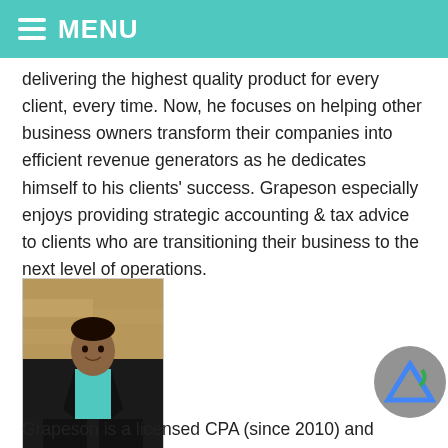MENU
delivering the highest quality product for every client, every time. Now, he focuses on helping other business owners transform their companies into efficient revenue generators as he dedicates himself to his clients' success. Grapeson especially enjoys providing strategic accounting & tax advice to clients who are transitioning their business to the next level of operations.
[Figure (photo): Professional photo of a man in a dark suit with a light blue shirt, seated outdoors against a stone wall background, smiling.]
Grapeson is a licensed CPA (since 2010) and CCMA in Texas